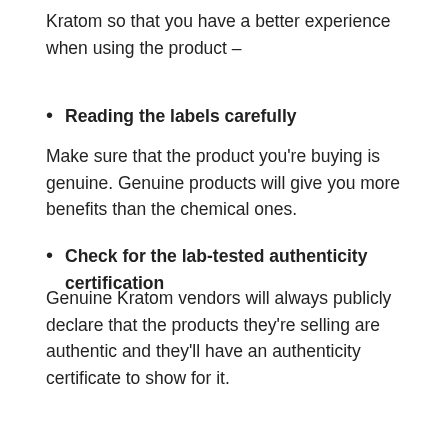Kratom so that you have a better experience when using the product –
Reading the labels carefully
Make sure that the product you're buying is genuine. Genuine products will give you more benefits than the chemical ones.
Check for the lab-tested authenticity certification
Genuine Kratom vendors will always publicly declare that the products they're selling are authentic and they'll have an authenticity certificate to show for it.
Always look at the reviews
Looking at the reviews of the products would give you a better idea of how beneficial the products are. If you know that the product you're buying is trustworthy and guaranteed to give benefits, you're bound to have a better experience